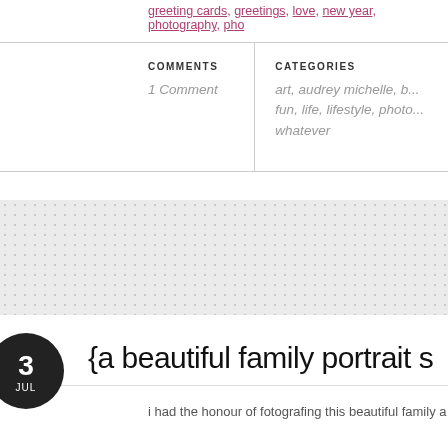greeting cards, greetings, love, new year, photography, pho...
| COMMENTS | CATEGORIES |
| --- | --- |
| 1 Comment | art, audrey michelle, b... fun, life, lifestyle, photo... whatever |
{a beautiful family portrait s...
i had the honour of fotografing this beautiful family a few w...